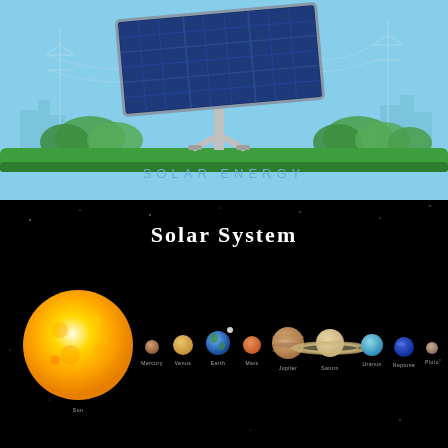[Figure (illustration): Solar energy illustration showing a large solar panel on a stand with power line towers in the background, green grass at the bottom, against a light blue sky background. Text 'SOLAR ENERGY' appears below the panel.]
[Figure (illustration): Solar System diagram on black background showing the Sun (large yellow/orange sphere) on the left, followed by planets in order: Mercury, Venus, Earth, Mars, Jupiter, Saturn (with rings), Uranus, Neptune, Pluto. Each planet is labeled below. Title 'Solar System' appears at the top in white text.]